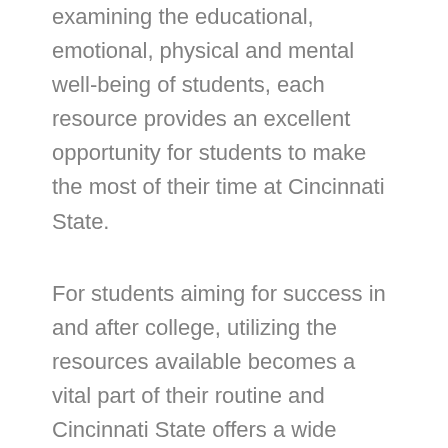examining the educational, emotional, physical and mental well-being of students, each resource provides an excellent opportunity for students to make the most of their time at Cincinnati State.
For students aiming for success in and after college, utilizing the resources available becomes a vital part of their routine and Cincinnati State offers a wide variety of resources and programs students can start utilizing from the very beginning.